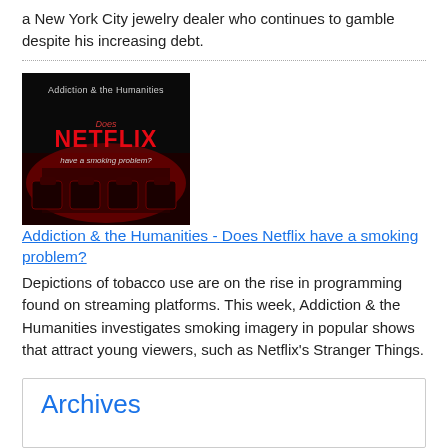a New York City jewelry dealer who continues to gamble despite his increasing debt.
[Figure (illustration): Book cover image: 'Addiction & the Humanities - Does NETFLIX have a smoking problem?' with red and dark imagery of a cinema-like setting.]
Addiction & the Humanities - Does Netflix have a smoking problem?
Depictions of tobacco use are on the rise in programming found on streaming platforms. This week, Addiction & the Humanities investigates smoking imagery in popular shows that attract young viewers, such as Netflix's Stranger Things.
Archives